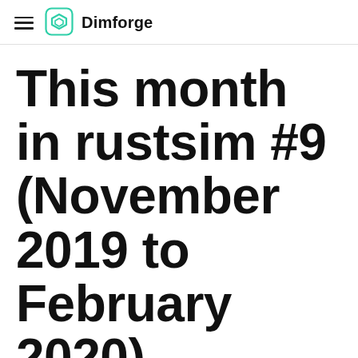Dimforge
This month in rustsim #9 (November 2019 to February 2020)
March 1, 2020 · 4 min read